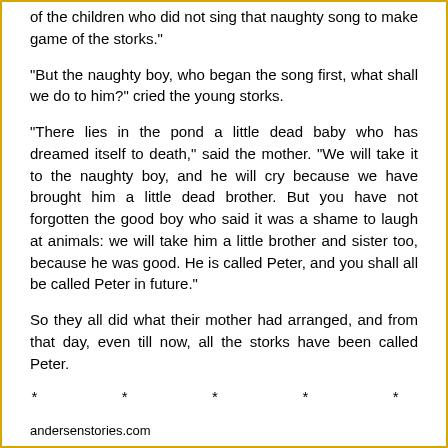of the children who did not sing that naughty song to make game of the storks."
"But the naughty boy, who began the song first, what shall we do to him?" cried the young storks.
"There lies in the pond a little dead baby who has dreamed itself to death," said the mother. "We will take it to the naughty boy, and he will cry because we have brought him a little dead brother. But you have not forgotten the good boy who said it was a shame to laugh at animals: we will take him a little brother and sister too, because he was good. He is called Peter, and you shall all be called Peter in future."
So they all did what their mother had arranged, and from that day, even till now, all the storks have been called Peter.
* * * * *
andersenstories.com